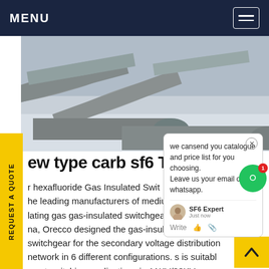MENU
[Figure (photo): Outdoor photograph of large grey cylindrical SF6 gas-insulated switchgear tubes/cylinders lying in snow.]
ew type carb sf6 Tu
r hexafluoride Gas Insulated Swit one he leading manufacturers of medium voltage lating gas gas-insulated switchgear (GIS) in na, Orecco designed the gas-insulated switchgear for the secondary voltage distribution network in 6 different configurations. s is suitabl most switching applications in 11KV/33KV secon distribution networks Got price